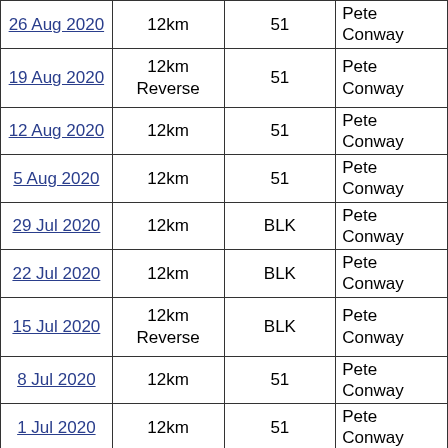| Date | Route | Starters | RD |
| --- | --- | --- | --- |
| 26 Aug 2020 | 12km | 51 | Pete Conway |
| 19 Aug 2020 | 12km Reverse | 51 | Pete Conway |
| 12 Aug 2020 | 12km | 51 | Pete Conway |
| 5 Aug 2020 | 12km | 51 | Pete Conway |
| 29 Jul 2020 | 12km | BLK | Pete Conway |
| 22 Jul 2020 | 12km | BLK | Pete Conway |
| 15 Jul 2020 | 12km Reverse | BLK | Pete Conway |
| 8 Jul 2020 | 12km | 51 | Pete Conway |
| 1 Jul 2020 | 12km | 51 | Pete Conway |
| 18 Mar 2020 | 12km Reverse | 51 | Pete Conway |
| 11 Mar 2020 | 12km | 51 | Pete Conway |
| 4 Mar 2020 | 12km | 51 | Pete Conway |
| 26 Feb 2020 | 12km Reverse | 51 | Pete Conway |